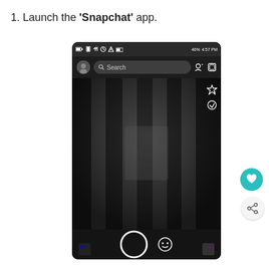1. Launch the 'Snapchat' app.
[Figure (screenshot): A smartphone screenshot of the Snapchat app camera screen, showing the status bar with time 4:57 PM and 46% battery, a search bar at the top, dark camera viewfinder showing a curtain/wall in the background, flash-off and timer icons on the right side, a shutter button and emoji icon at the bottom.]